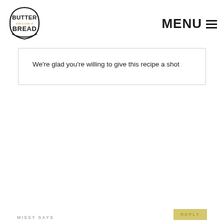BUTTER with a side of BREAD | MENU
We're glad you're willing to give this recipe a shot
MISSY SAYS
REPLY